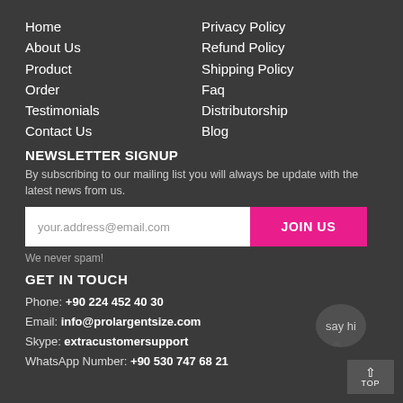Home
About Us
Product
Order
Testimonials
Contact Us
Privacy Policy
Refund Policy
Shipping Policy
Faq
Distributorship
Blog
NEWSLETTER SIGNUP
By subscribing to our mailing list you will always be update with the latest news from us.
your.address@email.com
JOIN US
We never spam!
GET IN TOUCH
Phone: +90 224 452 40 30
Email: info@prolargentsize.com
Skype: extracustomersupport
WhatsApp Number: +90 530 747 68 21
[Figure (illustration): Say hi chat bubble icon and TOP button]
TOP